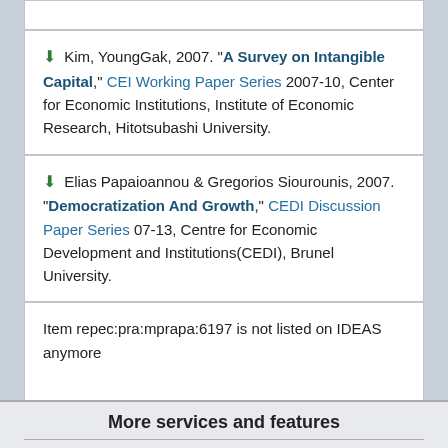Kim, YoungGak, 2007. "A Survey on Intangible Capital," CEI Working Paper Series 2007-10, Center for Economic Institutions, Institute of Economic Research, Hitotsubashi University.
Elias Papaioannou & Gregorios Siourounis, 2007. "Democratization And Growth," CEDI Discussion Paper Series 07-13, Centre for Economic Development and Institutions(CEDI), Brunel University.
Item repec:pra:mprapa:6197 is not listed on IDEAS anymore
More services and features